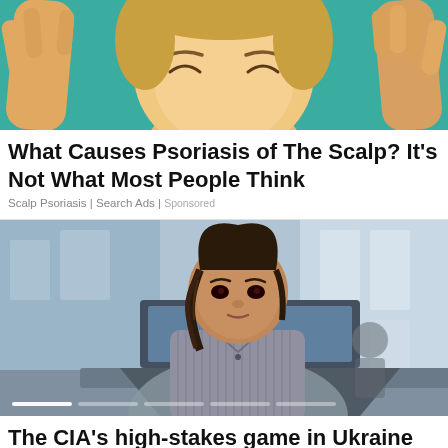[Figure (illustration): Colorful illustration of a face with closed eyes and hands on either side, teal/green background]
What Causes Psoriasis of The Scalp? It's Not What Most People Think
Scalp Psoriasis | Search Ads | Sponsored
[Figure (photo): Photo of a young woman with braided hair working on a laptop in a modern office environment]
The CIA's high-stakes game in Ukraine